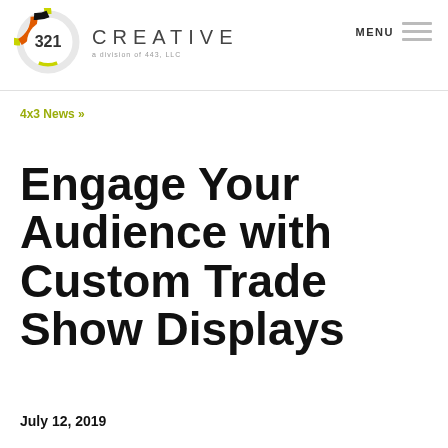[Figure (logo): 321 Creative logo — donut/ring shape with black, orange, and yellow-green segments containing '321', followed by 'CREATIVE' text and 'a division of 443, LLC' subtitle]
MENU
4x3 News »
Engage Your Audience with Custom Trade Show Displays
July 12, 2019